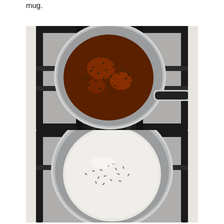mug.
[Figure (photo): Top-down view of a small saucepan on a gas stove containing dark liquid (tea/spice mixture) with small seeds or herbs floating in it. The pan has a black handle extending to the right.]
[Figure (photo): Top-down view of the same saucepan on a gas stove, now containing a lighter, milky liquid with seeds/spices floating in it, suggesting milk has been added to the spice mixture.]